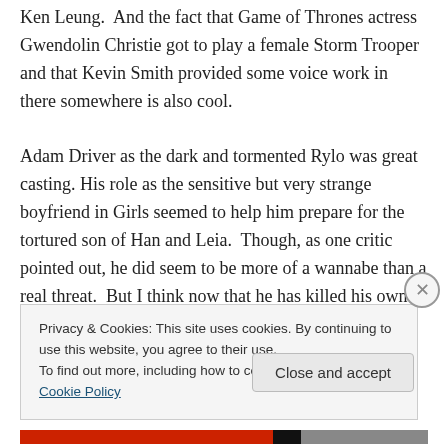Ken Leung.  And the fact that Game of Thrones actress Gwendolin Christie got to play a female Storm Trooper and that Kevin Smith provided some voice work in there somewhere is also cool.

Adam Driver as the dark and tormented Rylo was great casting. His role as the sensitive but very strange boyfriend in Girls seemed to help him prepare for the tortured son of Han and Leia.  Though, as one critic pointed out, he did seem to be more of a wannabe than a real threat.  But I think now that he has killed his own
Privacy & Cookies: This site uses cookies. By continuing to use this website, you agree to their use.
To find out more, including how to control cookies, see here: Cookie Policy
Close and accept